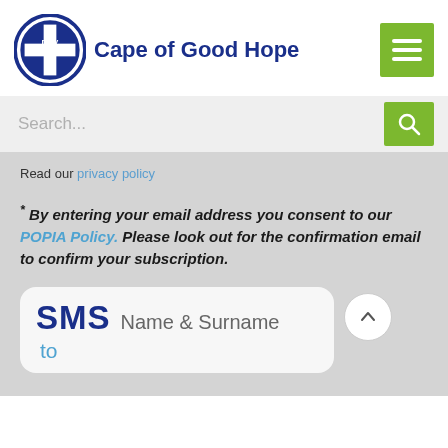[Figure (logo): DBV SPCA circular blue logo with cross and text DBV SPCA]
Cape of Good Hope
[Figure (other): Green hamburger menu button with three white horizontal lines]
[Figure (other): Search bar with placeholder text 'Search...' and green search button with magnifying glass icon]
Read our privacy policy
* By entering your email address you consent to our POPIA Policy. Please look out for the confirmation email to confirm your subscription.
SMS Name & Surname
to